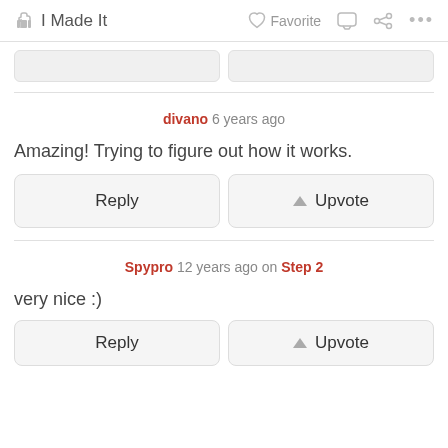I Made It  Favorite ...
divano 6 years ago
Amazing! Trying to figure out how it works.
Reply  Upvote
Spypro 12 years ago on Step 2
very nice :)
Reply  Upvote